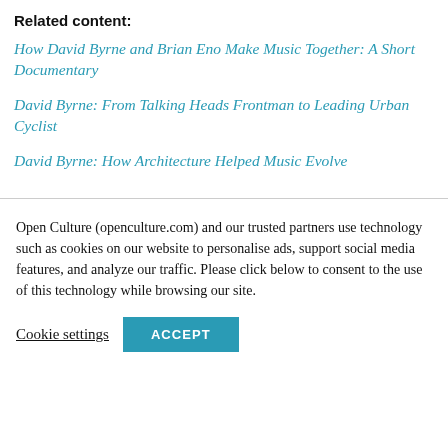Related content:
How David Byrne and Brian Eno Make Music Together: A Short Documentary
David Byrne: From Talking Heads Frontman to Leading Urban Cyclist
David Byrne: How Architecture Helped Music Evolve
Open Culture (openculture.com) and our trusted partners use technology such as cookies on our website to personalise ads, support social media features, and analyze our traffic. Please click below to consent to the use of this technology while browsing our site.
Cookie settings   ACCEPT